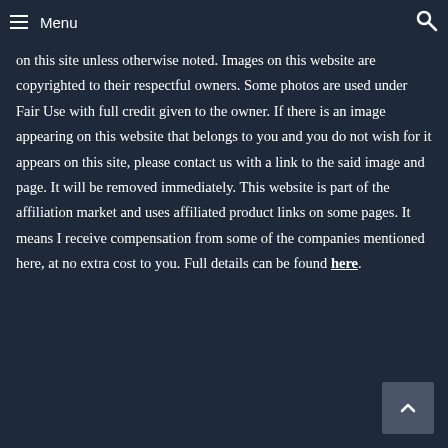Menu
on this site unless otherwise noted. Images on this website are copyrighted to their respectful owners. Some photos are used under Fair Use with full credit given to the owner. If there is an image appearing on this website that belongs to you and you do not wish for it appears on this site, please contact us with a link to the said image and page. It will be removed immediately. This website is part of the affiliation market and uses affiliated product links on some pages. It means I receive compensation from some of the companies mentioned here, at no extra cost to you. Full details can be found here.